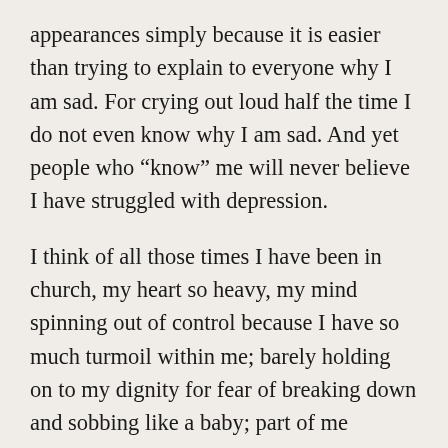appearances simply because it is easier than trying to explain to everyone why I am sad. For crying out loud half the time I do not even know why I am sad. And yet people who “know” me will never believe I have struggled with depression.

I think of all those times I have been in church, my heart so heavy, my mind spinning out of control because I have so much turmoil within me; barely holding on to my dignity for fear of breaking down and sobbing like a baby; part of me praying, hoping that God will use someone to speak a word of encouragement to me, that someone will discern that I was in distress and just give me a hug! The service ends and people greet me “how are you my